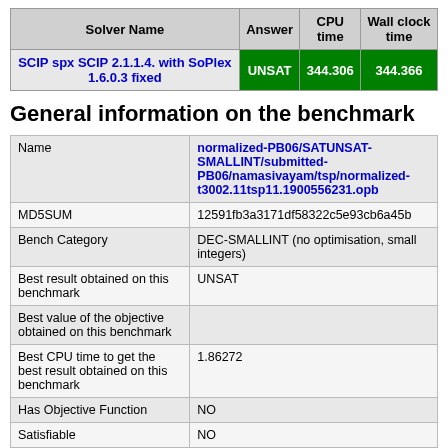| Solver Name | Answer | CPU time | Wall clock time |
| --- | --- | --- | --- |
| SCIP spx SCIP 2.1.1.4. with SoPlex 1.6.0.3 fixed | UNSAT | 344.306 | 344.366 |
General information on the benchmark
|  |  |
| --- | --- |
| Name | normalized-PB06/SATUNSAT-SMALLINT/submitted-PB06/namasivayam/tsp/normalized-t3002.11tsp11.1900556231.opb |
| MD5SUM | 12591fb3a3171df58322c5e93cb6a45b |
| Bench Category | DEC-SMALLINT (no optimisation, small integers) |
| Best result obtained on this benchmark | UNSAT |
| Best value of the objective obtained on this benchmark |  |
| Best CPU time to get the best result obtained on this benchmark | 1.86272 |
| Has Objective Function | NO |
| Satisfiable | NO |
| (Un)Satisfiability was proved | YES |
| Best value of the objective function |  |